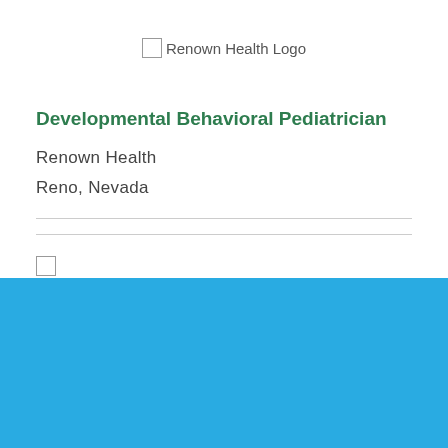[Figure (logo): Renown Health Logo placeholder image with text 'Renown Health Logo']
Developmental Behavioral Pediatrician
Renown Health
Reno, Nevada
[Figure (logo): Second logo placeholder image]
Cookie Settings   Got it
We use cookies so that we can remember you and understand how you use our site. If you do not agree with our use of cookies, please change the current settings found in our Cookie Policy. Otherwise, you agree to the use of the cookies as they are currently set.